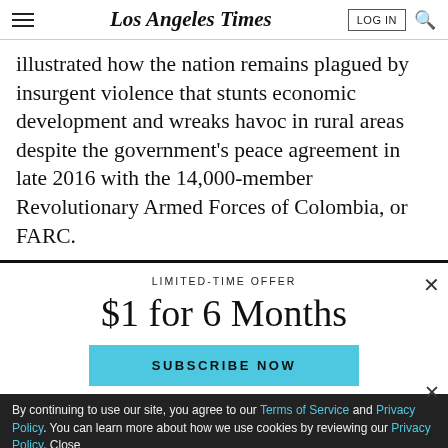Los Angeles Times
illustrated how the nation remains plagued by insurgent violence that stunts economic development and wreaks havoc in rural areas despite the government's peace agreement in late 2016 with the 14,000-member Revolutionary Armed Forces of Colombia, or FARC.
LIMITED-TIME OFFER
$1 for 6 Months
SUBSCRIBE NOW
By continuing to use our site, you agree to our Terms of Service and Privacy Policy. You can learn more about how we use cookies by reviewing our Privacy Policy. Close
Don't miss an all-new season